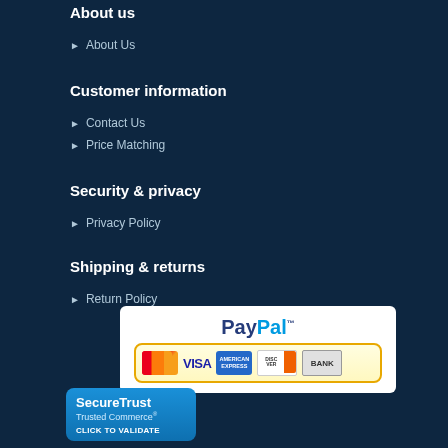About us
About Us
Customer information
Contact Us
Price Matching
Security & privacy
Privacy Policy
Shipping & returns
Return Policy
[Figure (logo): PayPal payment badge showing PayPal logo and accepted cards: MasterCard, VISA, American Express, Discover, Bank]
[Figure (logo): SecureTrust Trusted Commerce - Click to Validate badge]